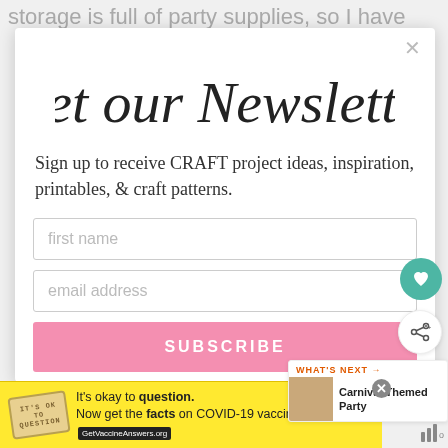storage is full of party supplies, so I have
[Figure (screenshot): Newsletter signup modal popup with cursive title 'Get our Newsletter', subscription text, first name and email input fields, and a pink SUBSCRIBE button]
Sign up to receive CRAFT project ideas, inspiration, printables, & craft patterns.
first name
email address
SUBSCRIBE
WHAT'S NEXT → Carnival Themed Party
It's okay to question. Now get the facts on COVID-19 vaccines GetVaccineAnswers.org